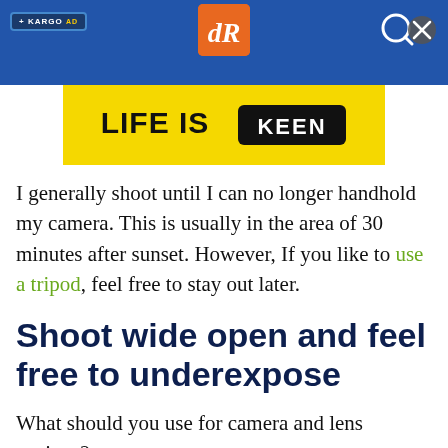+ KARGO AD | dR logo | search icon
[Figure (screenshot): Yellow advertisement banner reading LIFE IS KEEN with KEEN logo]
I generally shoot until I can no longer handhold my camera. This is usually in the area of 30 minutes after sunset. However, If you like to use a tripod, feel free to stay out later.
Shoot wide open and feel free to underexpose
What should you use for camera and lens settings?
The lens aperture is the easiest setting to